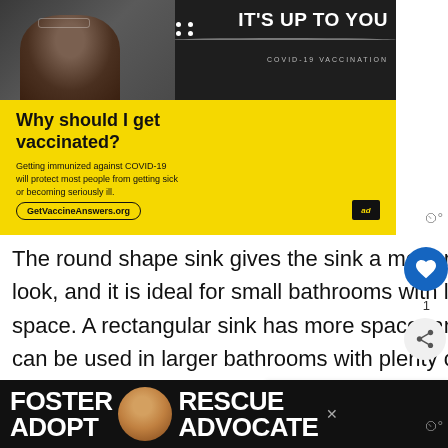[Figure (screenshot): COVID-19 vaccination advertisement by Ad Council. Dark top section with man with beard, text 'IT'S UP TO YOU COVID-19 VACCINATION'. Yellow bottom section with text 'Why should I get vaccinated? Getting immunized against COVID-19 will protect most people from getting sick or becoming seriously ill. GetVaccineAnswers.org']
The round shape sink gives the sink a more modern look, and it is ideal for small bathrooms with limited space. A rectangular sink has more space, and it can be used in larger bathrooms with plenty of space to spare. Sink bowels can be made plastic, metal, or ceramic materials.
[Figure (screenshot): Dog adoption advertisement at bottom: 'FOSTER ADOPT RESCUE ADVOCATE' with image of a beagle dog on dark background]